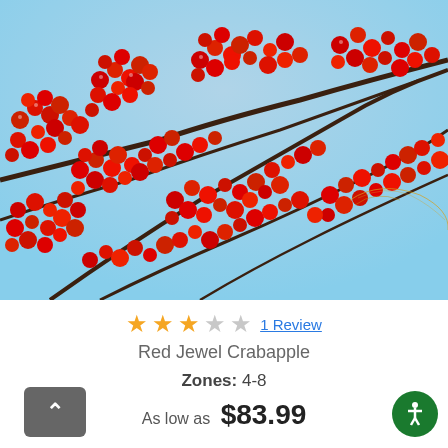[Figure (photo): Close-up photo of Red Jewel Crabapple tree branches covered in dense clusters of bright red small berries against a light blue sky background]
★★★☆☆ 1 Review
Red Jewel Crabapple
Zones: 4-8
As low as $83.99